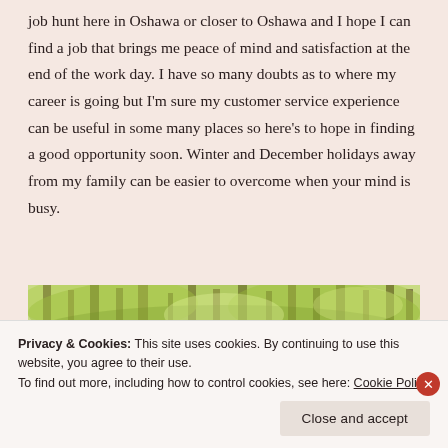job hunt here in Oshawa or closer to Oshawa and I hope I can find a job that brings me peace of mind and satisfaction at the end of the work day. I have so many doubts as to where my career is going but I'm sure my customer service experience can be useful in some many places so here's to hope in finding a good opportunity soon. Winter and December holidays away from my family can be easier to overcome when your mind is busy.
[Figure (photo): A panoramic photo of a forest with tall trees and bright green foliage, viewed from below looking upward.]
Privacy & Cookies: This site uses cookies. By continuing to use this website, you agree to their use.
To find out more, including how to control cookies, see here: Cookie Policy
Close and accept